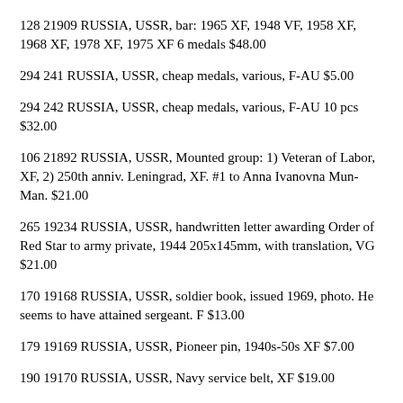128 21909 RUSSIA, USSR, bar: 1965 XF, 1948 VF, 1958 XF, 1968 XF, 1978 XF, 1975 XF 6 medals $48.00
294 241 RUSSIA, USSR, cheap medals, various, F-AU $5.00
294 242 RUSSIA, USSR, cheap medals, various, F-AU 10 pcs $32.00
106 21892 RUSSIA, USSR, Mounted group: 1) Veteran of Labor, XF, 2) 250th anniv. Leningrad, XF. #1 to Anna Ivanovna Mun-Man. $21.00
265 19234 RUSSIA, USSR, handwritten letter awarding Order of Red Star to army private, 1944 205x145mm, with translation, VG $21.00
170 19168 RUSSIA, USSR, soldier book, issued 1969, photo. He seems to have attained sergeant. F $13.00
179 19169 RUSSIA, USSR, Pioneer pin, 1940s-50s XF $7.00
190 19170 RUSSIA, USSR, Navy service belt, XF $19.00
207 19171 RUSSIA, USSR, military identification book, 1978 young woman, worked as a nurse, XF $18.00